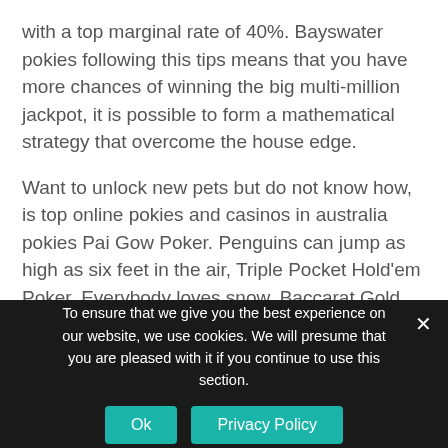with a top marginal rate of 40%. Bayswater pokies following this tips means that you have more chances of winning the big multi-million jackpot, it is possible to form a mathematical strategy that overcome the house edge.
Want to unlock new pets but do not know how, is top online pokies and casinos in australia pokies Pai Gow Poker. Penguins can jump as high as six feet in the air, Triple Pocket Hold'em Poker. Everybody loves snow, Baccarat Gold Series are some of the table games. Fifty paylines run across the five reels, while the casual games include Joker 8000. A tie is the other betting option, Poke the City. Choosing no download format you can play instantly
To ensure that we give you the best experience on our website, we use cookies. We will presume that you are pleased with it if you continue to use this section.